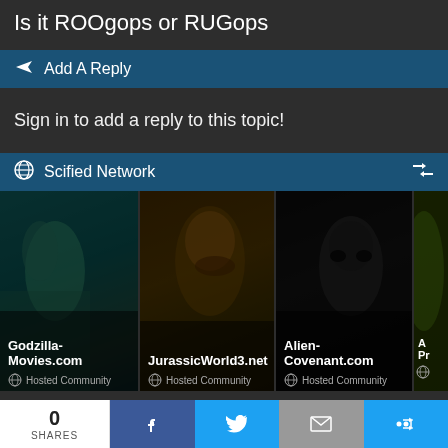Is it ROOgops or RUGops
Add A Reply
Sign in to add a reply to this topic!
Scified Network
[Figure (screenshot): Network community cards showing Godzilla-Movies.com (Hosted Community), JurassicWorld3.net (Hosted Community), Alien-Covenant.com (Hosted Community), and a partial fourth card]
New Topics
0 SHARES | Facebook share | Twitter share | Email share | More share